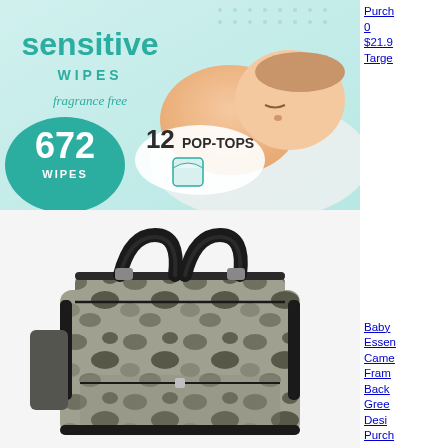[Figure (photo): Pampers sensitive wipes packaging showing 672 wipes with 12 pop-tops, fragrance free, with sleeping baby]
Purch 0 $21.9 Targe
[Figure (photo): Camouflage pattern diaper bag backpack with dark handles and straps]
Baby Essen Camo Fram Back Gree Desi Purch